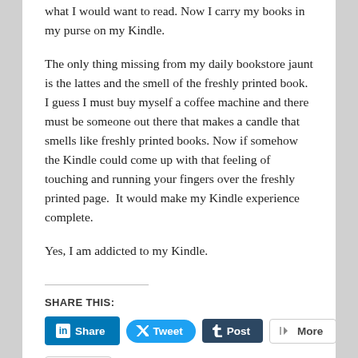what I would want to read. Now I carry my books in my purse on my Kindle.
The only thing missing from my daily bookstore jaunt is the lattes and the smell of the freshly printed book.  I guess I must buy myself a coffee machine and there must be someone out there that makes a candle that smells like freshly printed books. Now if somehow the Kindle could come up with that feeling of touching and running your fingers over the freshly printed page.  It would make my Kindle experience complete.
Yes, I am addicted to my Kindle.
SHARE THIS:
[Figure (other): Social sharing buttons: LinkedIn Share, Twitter Tweet, Tumblr Post, More]
[Figure (other): Like button with star icon]